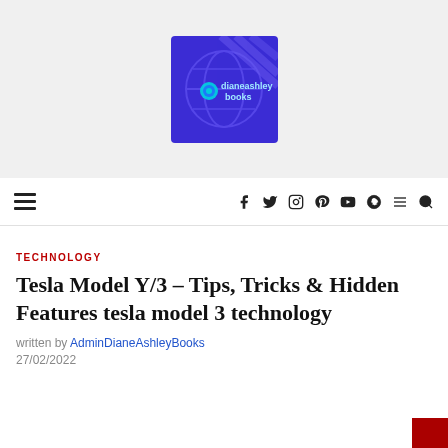[Figure (logo): dianeashleybooks logo - blue/purple globe graphic with text 'dianeashley books']
Navigation bar with hamburger menu and social icons: f y camera pinterest youtube snapchat menu search
TECHNOLOGY
Tesla Model Y/3 – Tips, Tricks & Hidden Features tesla model 3 technology
written by AdminDianeAshleyBooks
27/02/2022